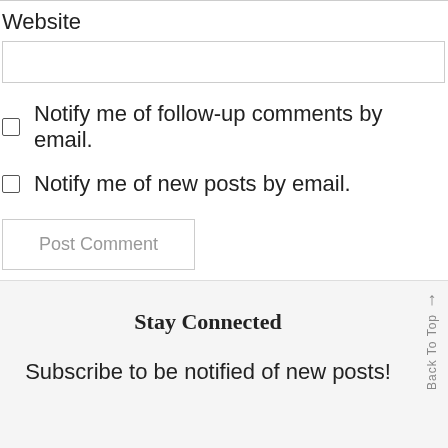Website
Notify me of follow-up comments by email.
Notify me of new posts by email.
Post Comment
Stay Connected
Subscribe to be notified of new posts!
Back To Top